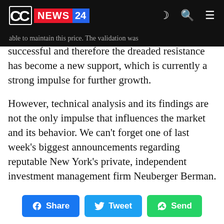CC NEWS 24
able to maintain this price. The validation was successful and therefore the dreaded resistance has become a new support, which is currently a strong impulse for further growth.
However, technical analysis and its findings are not the only impulse that influences the market and its behavior. We can't forget one of last week's biggest announcements regarding reputable New York's private, independent investment management firm Neuberger Berman.
Share  Tweet  Send